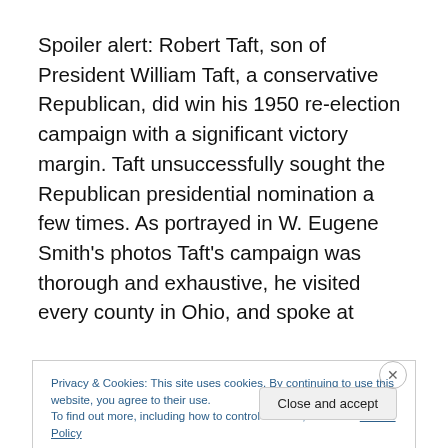Spoiler alert: Robert Taft, son of President William Taft, a conservative Republican, did win his 1950 re-election campaign with a significant victory margin. Taft unsuccessfully sought the Republican presidential nomination a few times. As portrayed in W. Eugene Smith's photos Taft's campaign was thorough and exhaustive, he visited every county in Ohio, and spoke at
Privacy & Cookies: This site uses cookies. By continuing to use this website, you agree to their use.
To find out more, including how to control cookies, see here: Cookie Policy